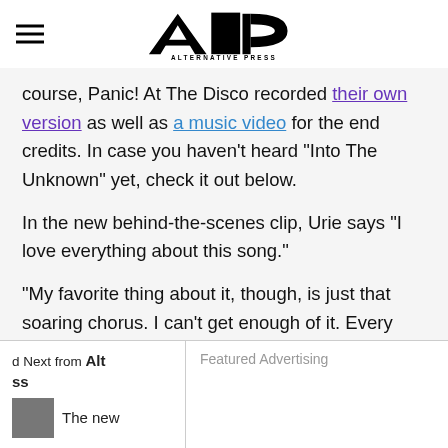Alternative Press
course, Panic! At The Disco recorded their own version as well as a music video for the end credits. In case you haven't heard "Into The Unknown" yet, check it out below.
In the new behind-the-scenes clip, Urie says "I love everything about this song."
“My favorite thing about it, though, is just that soaring chorus. I can't get enough of it. Every time it breaks into the chorus, I get chills. I'm getting chills just talking about it."
d Next from Alt ss
Featured Advertising
The new